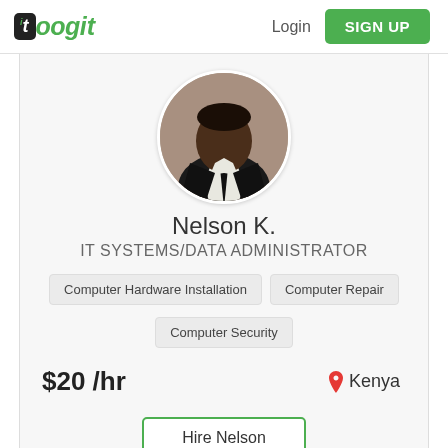[Figure (logo): Toogit logo with black icon box containing 't' and green dot, followed by 'oogit' in green italic text]
Login
SIGN UP
[Figure (photo): Circular profile photo of Nelson K., a man wearing a black suit and tie, smiling]
Nelson K.
IT SYSTEMS/DATA ADMINISTRATOR
Computer Hardware Installation
Computer Repair
Computer Security
$20 /hr
Kenya
Hire Nelson